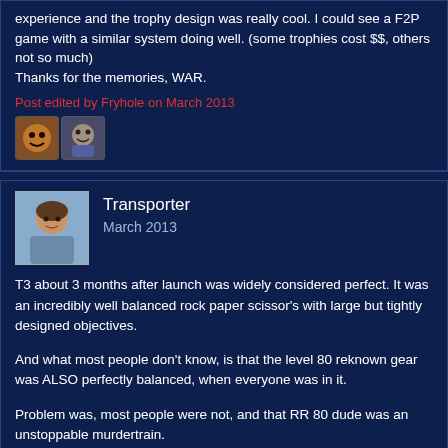Agree with Dote I Still am nothing like the original WAR experience and the trophy design was really cool. I could see a F2P game with a similar system doing well. (some trophies cost $$, others not so much)
Thanks for the memories, WAR.
Post edited by Fryhole on March 2013
[Figure (illustration): Two small reaction/emoji icons side by side]
Transporter
March 2013
T3 about 3 months after launch was widely considered perfect. It was an incredibly well balanced rock paper scissor's with large but tightly designed objectives.
And what most people don't know, is that the level 80 reknown gear was ALSO perfectly balanced, when everyone was in it.
Problem was, most people were not, and that RR 80 dude was an unstoppable murdertrain.